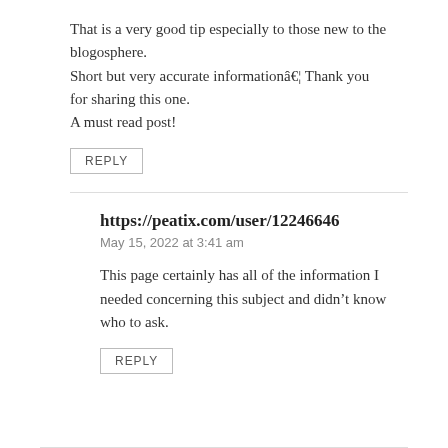That is a very good tip especially to those new to the blogosphere.
Short but very accurate informationâ€¦ Thank you for sharing this one.
A must read post!
REPLY
https://peatix.com/user/12246646
May 15, 2022 at 3:41 am
This page certainly has all of the information I needed concerning this subject and didn’t know who to ask.
REPLY